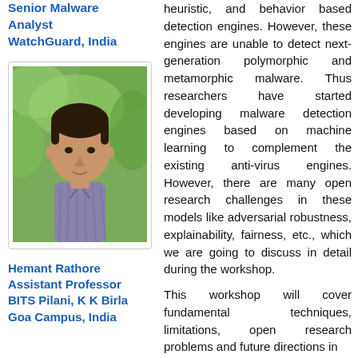Senior Malware Analyst WatchGuard, India
[Figure (photo): Headshot photo of a young man in a blue/purple striped shirt, outdoors with green foliage background, cropped in a bordered frame.]
Hemant Rathore
Assistant Professor
BITS Pilani, K K Birla Goa Campus, India
heuristic, and behavior based detection engines. However, these engines are unable to detect next-generation polymorphic and metamorphic malware. Thus researchers have started developing malware detection engines based on machine learning to complement the existing anti-virus engines. However, there are many open research challenges in these models like adversarial robustness, explainability, fairness, etc., which we are going to discuss in detail during the workshop.
This workshop will cover fundamental techniques, limitations, open research problems and future directions in